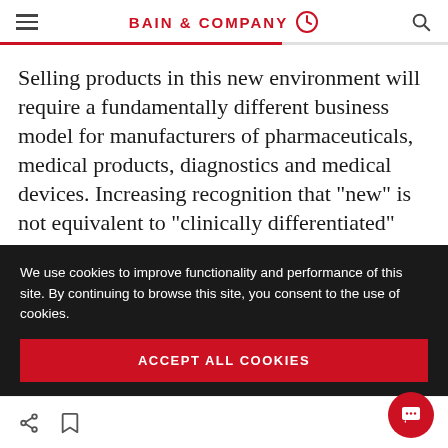BAIN & COMPANY
Selling products in this new environment will require a fundamentally different business model for manufacturers of pharmaceuticals, medical products, diagnostics and medical devices. Increasing recognition that "new" is not equivalent to "clinically differentiated" raises
We use cookies to improve functionality and performance of this site. By continuing to browse this site, you consent to the use of cookies.
ACCEPT ALL COOKIES